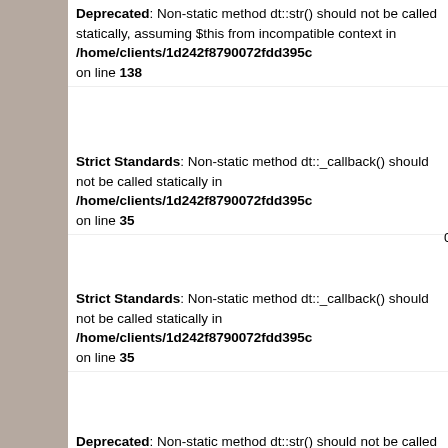Deprecated: Non-static method dt::str() should not be called statically, assuming $this from incompatible context in /home/clients/1d242f8790072fdd395c on line 138
Strict Standards: Non-static method dt::_callback() should not be called statically in /home/clients/1d242f8790072fdd395c on line 35
Strict Standards: Non-static method dt::_callback() should not be called statically in /home/clients/1d242f8790072fdd395c on line 35
Deprecated: Non-static method dt::str() should not be called statically, assuming $this from incompatible context in /home/clients/1d242f8790072fdd395c on line 139
Strict Standards: Non-static method dt::_callback() should not be called statically in /home/clients/1d242f8790072fdd395c